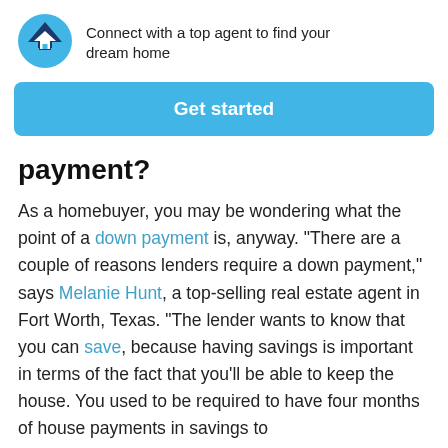[Figure (logo): HomeLight logo — circular blue icon with mountain/chevron shape and house silhouette]
Connect with a top agent to find your dream home
Get started
payment?
As a homebuyer, you may be wondering what the point of a down payment is, anyway. “There are a couple of reasons lenders require a down payment,” says Melanie Hunt, a top-selling real estate agent in Fort Worth, Texas. “The lender wants to know that you can save, because having savings is important in terms of the fact that you’ll be able to keep the house. You used to be required to have four months of house payments in savings to